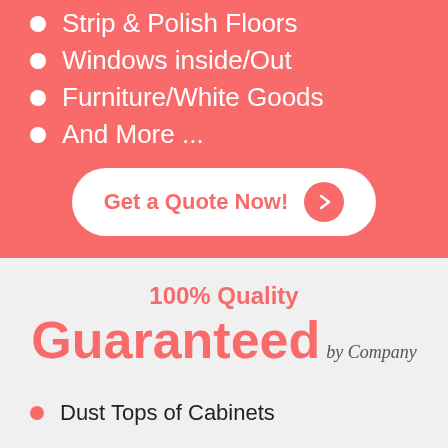Strip & Polish Floors
Windows inside/Out
Furniture/White Goods
And More ...
Get a Quote Now!
100% Quality
Guaranteed by Company
Dust Tops of Cabinets